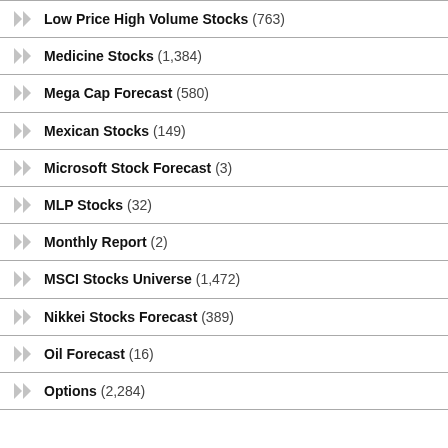Low Price High Volume Stocks (763)
Medicine Stocks (1,384)
Mega Cap Forecast (580)
Mexican Stocks (149)
Microsoft Stock Forecast (3)
MLP Stocks (32)
Monthly Report (2)
MSCI Stocks Universe (1,472)
Nikkei Stocks Forecast (389)
Oil Forecast (16)
Options (2,284)